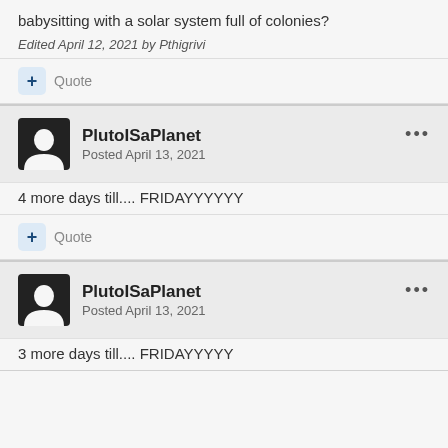babysitting with a solar system full of colonies?
Edited April 12, 2021 by Pthigrivi
+ Quote
PlutoISaPlanet
Posted April 13, 2021
4 more days till.... FRIDAYYYYYY
+ Quote
PlutoISaPlanet
Posted April 13, 2021
3 more days till.... FRIDAYYYYY